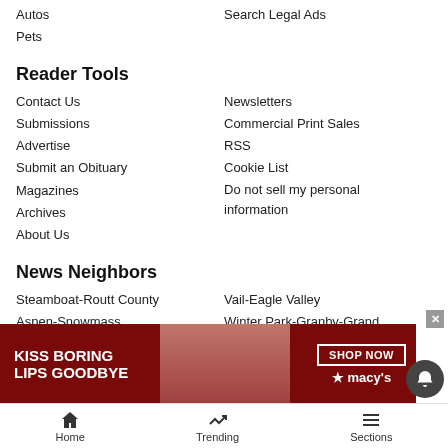Autos
Search Legal Ads
Pets
Reader Tools
Contact Us
Newsletters
Submissions
Commercial Print Sales
Advertise
RSS
Submit an Obituary
Cookie List
Magazines
Do not sell my personal information
Archives
About Us
News Neighbors
Steamboat-Routt County
Vail-Eagle Valley
Aspen-Snowmass
Winter Park-Granby-Grand County
Glenwood Springs-Rifle
Park City-Utah
Printing Press Jobs
Summit County
[Figure (photo): Macy's advertisement banner: KISS BORING LIPS GOODBYE with SHOP NOW button and Macy's star logo]
Home   Trending   Sections